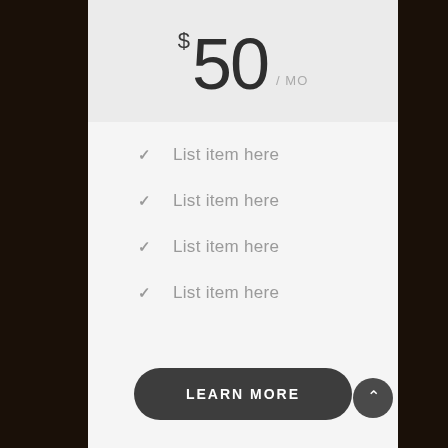$50 / MO
✓ List item here
✓ List item here
✓ List item here
✓ List item here
LEARN MORE